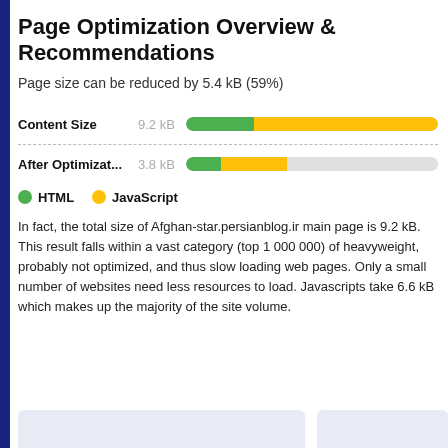Page Optimization Overview & Recommendations
Page size can be reduced by 5.4 kB (59%)
[Figure (bar-chart): Content Size vs After Optimization bar chart]
In fact, the total size of Afghan-star.persianblog.ir main page is 9.2 kB. This result falls within a vast category (top 1 000 000) of heavyweight, probably not optimized, and thus slow loading web pages. Only a small number of websites need less resources to load. Javascripts take 6.6 kB which makes up the majority of the site volume.